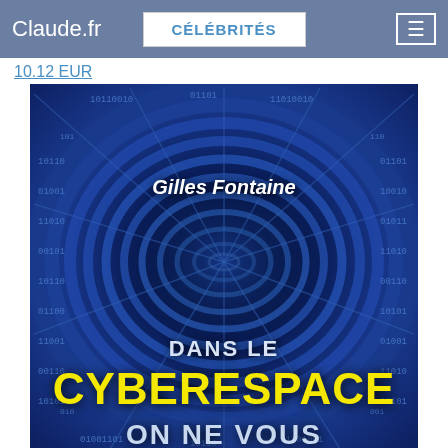Claude.fr | CÉLÉBRITÉS
10.12 EUR
[Figure (photo): Book cover for 'Dans le Cyberespace on ne vous...' by Gilles Fontaine. Features a digital tunnel made of binary code digits (zeros and ones) in blue tones, with a dark vanishing point in the center. Author name 'Gilles Fontaine' appears in white at the top center. Text 'DANS LE' in white, 'CYBERESPACE' in bright yellow bold text, and 'ON NE VOUS' in light blue/white bold text at the bottom.]